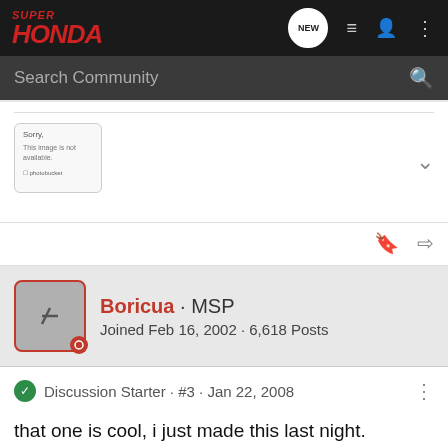SuperHonda — Search Community
[Figure (screenshot): Photobucket image placeholder showing 'Sorry, This image is not available' message]
Boricua · MSP
Joined Feb 16, 2002 · 6,618 Posts
Discussion Starter · #3 · Jan 22, 2008
that one is cool, i just made this last night.